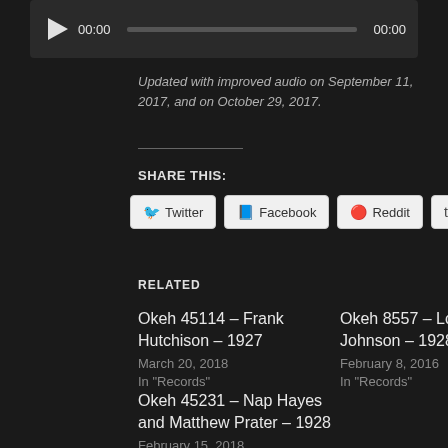[Figure (other): Audio player bar with play button, time display 00:00, progress bar, and end time 00:00]
Updated with improved audio on September 11, 2017, and on October 29, 2017.
SHARE THIS:
Twitter  Facebook  Reddit  Tumblr
RELATED
Okeh 45114 – Frank Hutchison – 1927
March 20, 2018
In "Records"
Okeh 8557 – Lonnie Johnson – 1928
February 8, 2016
In "Records"
Okeh 45231 – Nap Hayes and Matthew Prater – 1928
February 15, 2018